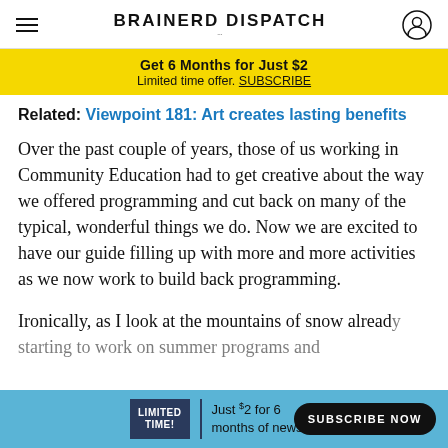BRAINERD DISPATCH
[Figure (infographic): Yellow promotional banner: 'Get 6 Months for Just $2 — Limited time offer. SUBSCRIBE']
Related: Viewpoint 181: Art creates lasting benefits
Over the past couple of years, those of us working in Community Education had to get creative about the way we offered programming and cut back on many of the typical, wonderful things we do. Now we are excited to have our guide filling up with more and more activities as we now work to build back programming.
Ironically, as I look at the mountains of snow already starting to work on summer programs and
[Figure (infographic): Blue bottom ad banner: LIMITED TIME! | Just $2 for 6 months of news. SUBSCRIBE NOW]